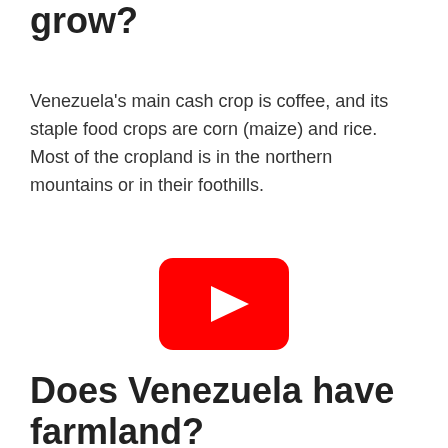grow?
Venezuela's main cash crop is coffee, and its staple food crops are corn (maize) and rice. Most of the cropland is in the northern mountains or in their foothills.
[Figure (screenshot): YouTube play button icon — red rounded rectangle with white triangle play arrow in center]
Does Venezuela have farmland?